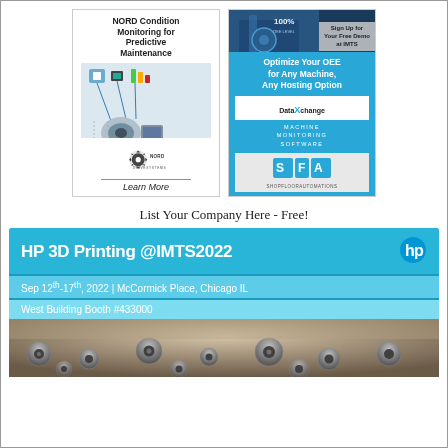[Figure (illustration): NORD Condition Monitoring for Predictive Maintenance advertisement with diagram of machinery monitoring system and NORD DRIVESYSTEMS logo]
[Figure (illustration): Shop Floor Automations DataXchange Machine Monitoring Software advertisement with CNC machine photo, 'Sign Up for Your Free Demo at IMTS', 'Optimize Your OEE for Any Machine, Any Hosting Option']
List Your Company Here - Free!
[Figure (illustration): HP 3D Printing @IMTS2022 banner advertisement. Sep 12th-17th, 2022 | McCormick Place, Chicago IL. West Building Booth #433000. HP logo. Photo of metal 3D printed parts.]